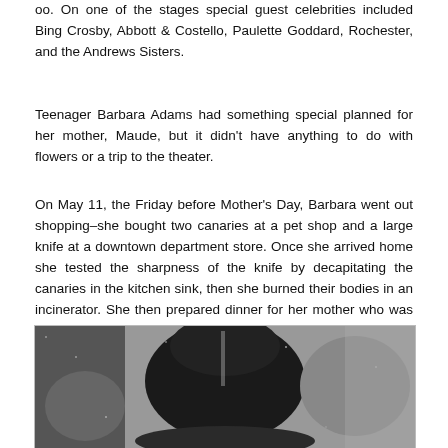oo. On one of the stages special guest celebrities included Bing Crosby, Abbott & Costello, Paulette Goddard, Rochester, and the Andrews Sisters.
Teenager Barbara Adams had something special planned for her mother, Maude, but it didn't have anything to do with flowers or a trip to the theater.
On May 11, the Friday before Mother's Day, Barbara went out shopping–she bought two canaries at a pet shop and a large knife at a downtown department store. Once she arrived home she tested the sharpness of the knife by decapitating the canaries in the kitchen sink, then she burned their bodies in an incinerator. She then prepared dinner for her mother who was expected to arrive late following her shift at General Hospital. An argument between mother an daughter broke out after dinner and ended when Maude smacked Barbara across the face.
[Figure (photo): A grainy black and white photograph showing a dark silhouetted figure, likely a person, in what appears to be an indoor setting. The image is heavily contrasted with dark tones dominating.]